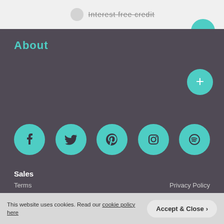Interest free credit
About
[Figure (infographic): Five teal circular social media icon buttons: Facebook, Twitter, Pinterest, Instagram, Spotify]
Sales
01484 500 560

Aftercare
01484 500 560
Terms    Privacy Policy
This website uses cookies. Read our cookie policy here    Accept & Close >